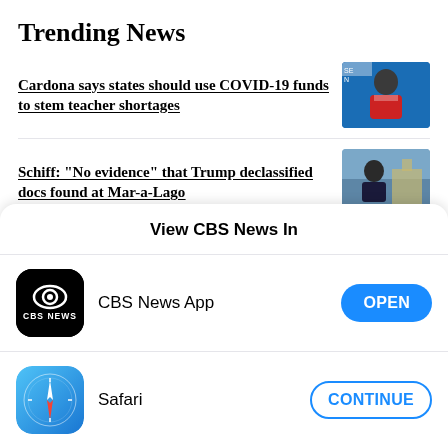Trending News
Cardona says states should use COVID-19 funds to stem teacher shortages
Schiff: "No evidence" that Trump declassified docs found at Mar-a-Lago
View CBS News In
CBS News App
Safari